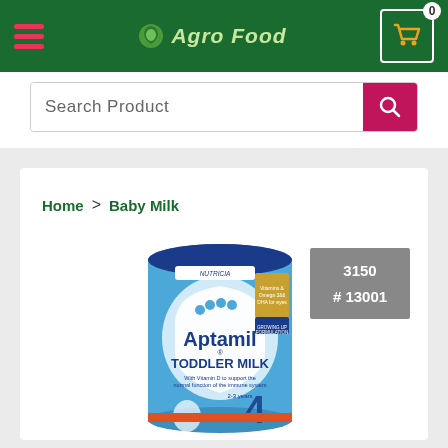Agro Food
Search Product
Home > Baby Milk
[Figure (photo): Aptamil Toddler Milk 4 (2-3 years) tin by Nutricia - blue cylindrical container with product name and description]
3150
# 13001